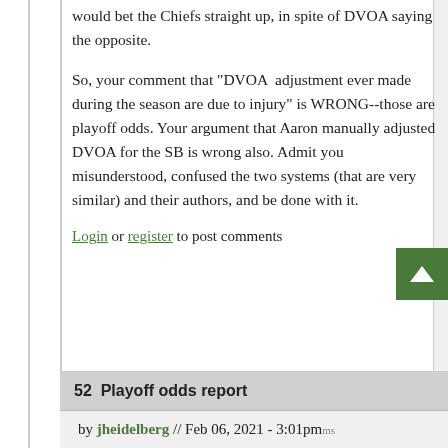would bet the Chiefs straight up, in spite of DVOA saying the opposite.
So, your comment that "DVOA  adjustment ever made during the season are due to injury" is WRONG--those are playoff odds. Your argument that Aaron manually adjusted DVOA for the SB is wrong also. Admit you misunderstood, confused the two systems (that are very similar) and their authors, and be done with it.
Log in or register to post comments
52  Playoff odds report
by jheidelberg // Feb 06, 2021 - 3:01pm